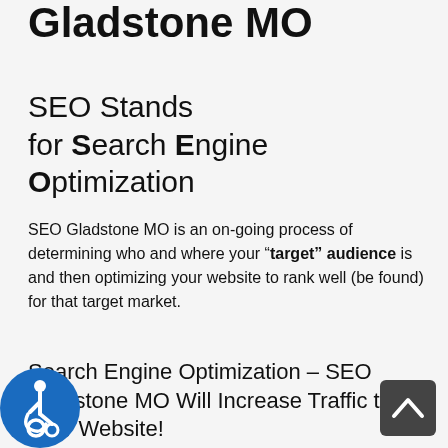Gladstone MO
SEO Stands for Search Engine Optimization
SEO Gladstone MO is an on-going process of determining who and where your "target" audience is and then optimizing your website to rank well (be found) for that target market.
Search Engine Optimization – SEO Gladstone MO Will Increase Traffic to Your Website!
…use only ethical and proven methods of optimization to help you increase your search engine ranking and bring more visitors to your website.